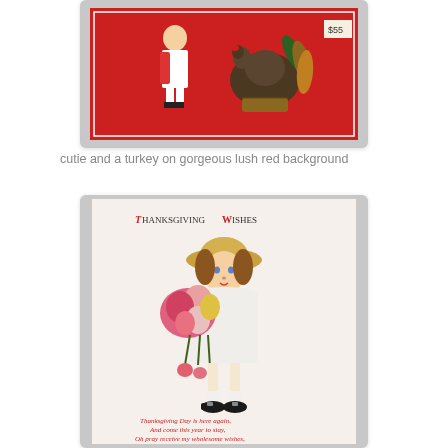[Figure (photo): Vintage Thanksgiving cutout scene in plastic packaging showing a girl in white apron and red dress with a large turkey on a bright red background. Price tag visible.]
cutie and a turkey on gorgeous lush red background
[Figure (photo): Vintage Thanksgiving postcard showing a young girl in a white dress and straw hat holding a large bouquet of pink and yellow flowers. Text at top reads 'Thanksgiving Wishes'. At the bottom red cursive text reads: 'Thanksgiving Day is here again, And come this year to stay, Oh pray receive my wholesome wishes, [further text cut off]']